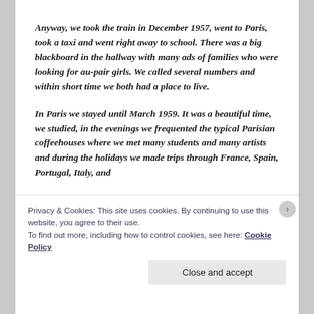Anyway, we took the train in December 1957, went to Paris, took a taxi and went right away to school. There was a big blackboard in the hallway with many ads of families who were looking for au-pair girls. We called several numbers and within short time we both had a place to live.
In Paris we stayed until March 1959. It was a beautiful time, we studied, in the evenings we frequented the typical Parisian coffeehouses where we met many students and many artists and during the holidays we made trips through France, Spain, Portugal, Italy, and
Privacy & Cookies: This site uses cookies. By continuing to use this website, you agree to their use.
To find out more, including how to control cookies, see here: Cookie Policy
Close and accept